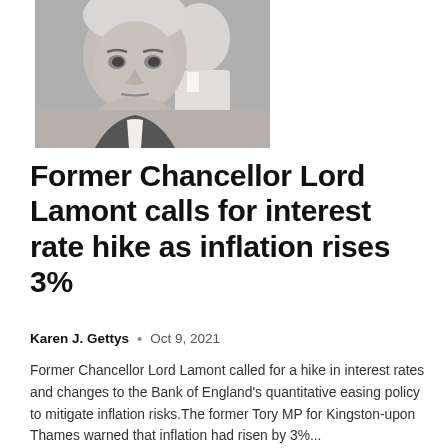[Figure (photo): Close-up photograph of an older grey-haired man, identified as Former Chancellor Lord Lamont, looking stern, with another person partially visible behind him.]
Former Chancellor Lord Lamont calls for interest rate hike as inflation rises 3%
Karen J. Gettys  •  Oct 9, 2021
Former Chancellor Lord Lamont called for a hike in interest rates and changes to the Bank of England's quantitative easing policy to mitigate inflation risks.The former Tory MP for Kingston-upon Thames warned that inflation had risen by 3%...